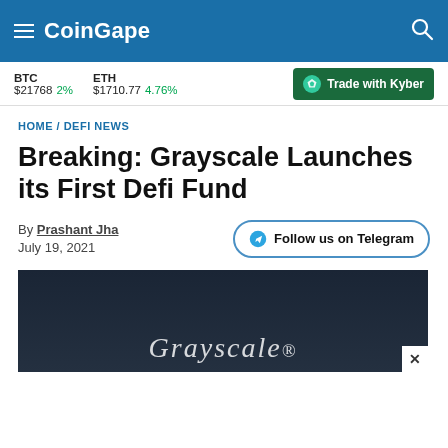CoinGape
BTC $21768 2%  ETH $1710.77 4.76%  Trade with Kyber
HOME / DEFI NEWS
Breaking: Grayscale Launches its First Defi Fund
By Prashant Jha
July 19, 2021
Follow us on Telegram
[Figure (photo): Dark background image with Grayscale logo text partially visible]